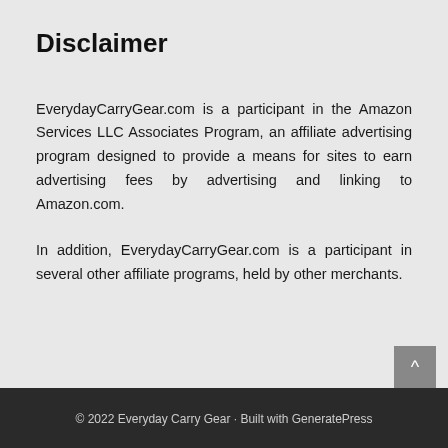Disclaimer
EverydayCarryGear.com is a participant in the Amazon Services LLC Associates Program, an affiliate advertising program designed to provide a means for sites to earn advertising fees by advertising and linking to Amazon.com.
In addition, EverydayCarryGear.com is a participant in several other affiliate programs, held by other merchants.
© 2022 Everyday Carry Gear · Built with GeneratePress